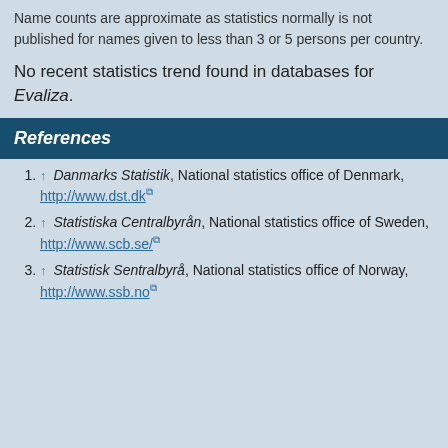Name counts are approximate as statistics normally is not published for names given to less than 3 or 5 persons per country.
No recent statistics trend found in databases for Evaliza.
References
↑ Danmarks Statistik, National statistics office of Denmark, http://www.dst.dk
↑ Statistiska Centralbyrån, National statistics office of Sweden, http://www.scb.se/
↑ Statistisk Sentralbyrå, National statistics office of Norway, http://www.ssb.no